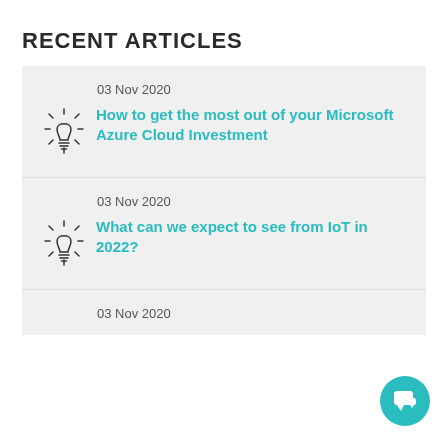RECENT ARTICLES
03 Nov 2020 — How to get the most out of your Microsoft Azure Cloud Investment
03 Nov 2020 — What can we expect to see from IoT in 2022?
03 Nov 2020